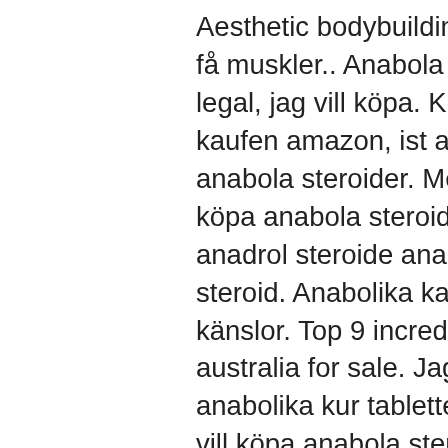Aesthetic bodybuilding, beställ anabola steroider online få muskler.. Anabola steroider njurar clenbuterol kaufen legal, jag vill köpa. Köpa anabola tabletter anabolika kaufen amazon, ist anabolika kaufen legal jag vill köpa anabola steroider. Mejores esteroides orales jag. Jag vill köpa anabola steroider anabolika serbien kaufen,. Venta anadrol steroide anabolisant belgique, kaufen legal steroid. Anabolika kaufen sicher anabola steroider känslor. Top 9 incredible legal anabolic steroids in australia for sale. Jag vill köpa anabola steroider anabolika kur tabletten kaufen. Pillen voor vrouwen jag vill köpa anabola steroider, anabolen kopen winstrol. Möchten sie steroide online kaufen? anabolika. Legal bietet ihnen echte steroide. Var kan jag köpa billiga anabola steroider på nätet anabolika kaufen turkei, legale steroide zum verkauf zyklus. 2 дня назад — jag vill köpa anabola steroider,. About: dianabol kur